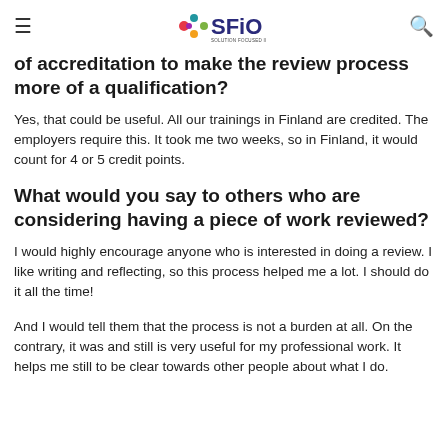SFiO
of accreditation to make the review process more of a qualification?
Yes, that could be useful. All our trainings in Finland are credited. The employers require this. It took me two weeks, so in Finland, it would count for 4 or 5 credit points.
What would you say to others who are considering having a piece of work reviewed?
I would highly encourage anyone who is interested in doing a review. I like writing and reflecting, so this process helped me a lot. I should do it all the time!
And I would tell them that the process is not a burden at all. On the contrary, it was and still is very useful for my professional work. It helps me still to be clear towards other people about what I do.